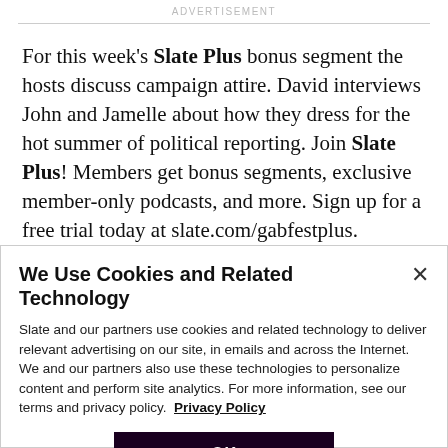ADVERTISEMENT
For this week's Slate Plus bonus segment the hosts discuss campaign attire. David interviews John and Jamelle about how they dress for the hot summer of political reporting. Join Slate Plus! Members get bonus segments, exclusive member-only podcasts, and more. Sign up for a free trial today at slate.com/gabfestplus.
We Use Cookies and Related Technology
Slate and our partners use cookies and related technology to deliver relevant advertising on our site, in emails and across the Internet. We and our partners also use these technologies to personalize content and perform site analytics. For more information, see our terms and privacy policy.  Privacy Policy
OK